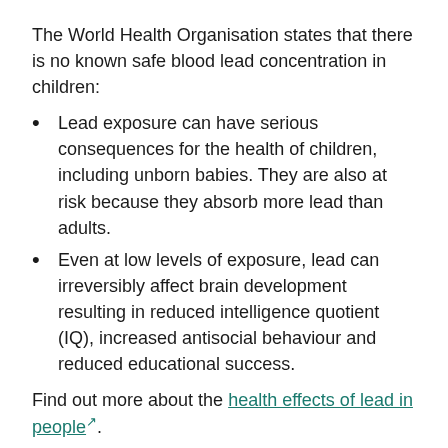The World Health Organisation states that there is no known safe blood lead concentration in children:
Lead exposure can have serious consequences for the health of children, including unborn babies. They are also at risk because they absorb more lead than adults.
Even at low levels of exposure, lead can irreversibly affect brain development resulting in reduced intelligence quotient (IQ), increased antisocial behaviour and reduced educational success.
Find out more about the health effects of lead in people.
How are livestock exposed to lead?
...